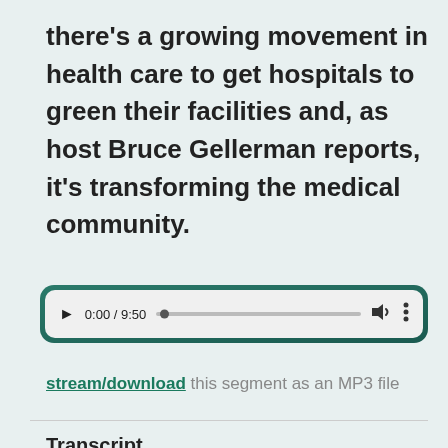there's a growing movement in health care to get hospitals to green their facilities and, as host Bruce Gellerman reports, it's transforming the medical community.
[Figure (other): Audio player widget showing 0:00 / 9:50 with play button, progress bar, volume and more options icons, on a teal-bordered rounded rectangle background.]
stream/download this segment as an MP3 file
Transcript
GELLERMAN: About a dozen years ago, the U. S.